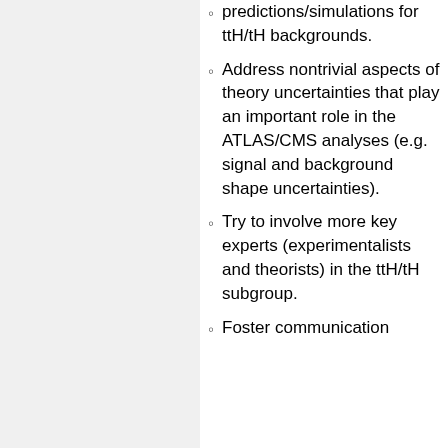predictions/simulations for ttH/tH backgrounds.
Address nontrivial aspects of theory uncertainties that play an important role in the ATLAS/CMS analyses (e.g. signal and background shape uncertainties).
Try to involve more key experts (experimentalists and theorists) in the ttH/tH subgroup.
Foster communication